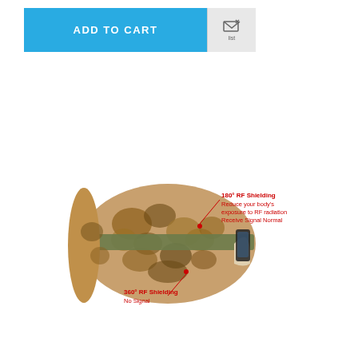[Figure (screenshot): ADD TO CART button in blue and a wishlist/compare icon button in grey]
[Figure (photo): Camouflage patterned phone pouch/sleeve with RF shielding labels. Top label in red text: '180° RF Shielding / Reduce your body's exposure to RF radiation / Receive Signal Normal'. Bottom label in red text: '360° RF Shielding / No Signal'. The pouch has a military desert camouflage pattern with an elastic band.]